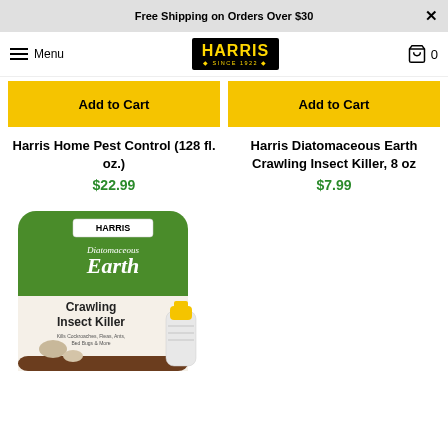Free Shipping on Orders Over $30
[Figure (logo): Harris brand logo - black background with gold HARRIS text and 'Since 1922' tagline]
[Figure (illustration): Add to Cart button (yellow) for left product]
[Figure (illustration): Add to Cart button (yellow) for right product]
Harris Home Pest Control (128 fl. oz.)
$22.99
Harris Diatomaceous Earth Crawling Insect Killer, 8 oz
$7.99
[Figure (photo): Harris Diatomaceous Earth Crawling Insect Killer product bag - green and white bag with crawling insect imagery and an applicator bottle]